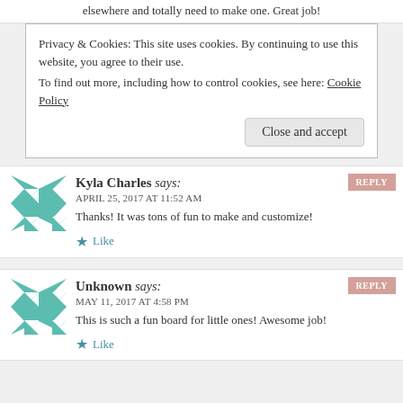elsewhere and totally need to make one. Great job!
Privacy & Cookies: This site uses cookies. By continuing to use this website, you agree to their use.
To find out more, including how to control cookies, see here: Cookie Policy
Close and accept
Kyla Charles says:
APRIL 25, 2017 AT 11:52 AM
Thanks! It was tons of fun to make and customize!
Like
REPLY
Unknown says:
MAY 11, 2017 AT 4:58 PM
This is such a fun board for little ones! Awesome job!
Like